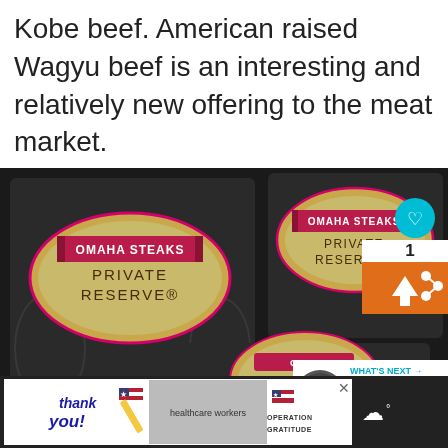Kobe beef. American raised Wagyu beef is an interesting and relatively new offering to the meat market.
[Figure (photo): Three Omaha Steaks Private Reserve dark gift boxes stacked and arranged, showing their gold and pink logo labels. UI overlays: heart button, share button with count '1', 'What's Next' panel showing 'Wagyu Beef Delivery...' thumbnail.]
[Figure (photo): Advertisement banner: 'Thank you!' with US flag pencil graphic on left, healthcare workers in masks holding cards in center, 'Operation Gratitude' logo on right, with a close X button.]